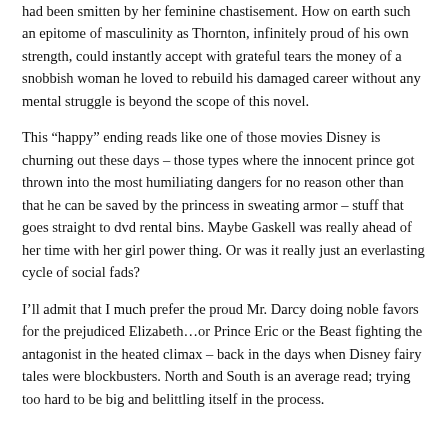had been smitten by her feminine chastisement. How on earth such an epitome of masculinity as Thornton, infinitely proud of his own strength, could instantly accept with grateful tears the money of a snobbish woman he loved to rebuild his damaged career without any mental struggle is beyond the scope of this novel.
This “happy” ending reads like one of those movies Disney is churning out these days – those types where the innocent prince got thrown into the most humiliating dangers for no reason other than that he can be saved by the princess in sweating armor – stuff that goes straight to dvd rental bins. Maybe Gaskell was really ahead of her time with her girl power thing. Or was it really just an everlasting cycle of social fads?
I’ll admit that I much prefer the proud Mr. Darcy doing noble favors for the prejudiced Elizabeth…or Prince Eric or the Beast fighting the antagonist in the heated climax – back in the days when Disney fairy tales were blockbusters. North and South is an average read; trying too hard to be big and belittling itself in the process.